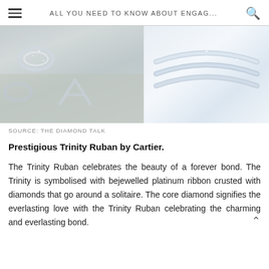ALL YOU NEED TO KNOW ABOUT ENGAG...
[Figure (photo): Two photos side by side: left shows diamond/silver rings laid on a sandy surface with letter shapes; right shows curved platinum/diamond wedding bands on a white background.]
SOURCE: THE DIAMOND TALK
Prestigious Trinity Ruban by Cartier.
The Trinity Ruban celebrates the beauty of a forever bond. The Trinity is symbolised with bejewelled platinum ribbon crusted with diamonds that go around a solitaire. The core diamond signifies the everlasting love with the Trinity Ruban celebrating the charming and everlasting bond.